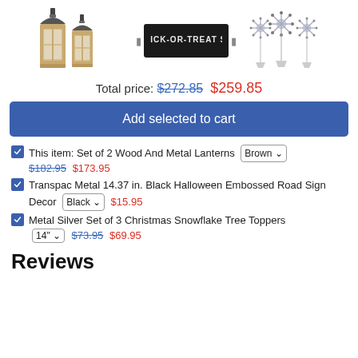[Figure (photo): Three product images: two wooden lanterns on the left, a black Halloween embossed road sign in the center, and metal silver snowflake tree toppers on the right]
Total price: $272.85 $259.85
Add selected to cart
This item: Set of 2 Wood And Metal Lanterns [Brown ▾] $182.95 $173.95
Transpac Metal 14.37 in. Black Halloween Embossed Road Sign Decor [Black ▾] $15.95
Metal Silver Set of 3 Christmas Snowflake Tree Toppers [14" ▾] $73.95 $69.95
Reviews